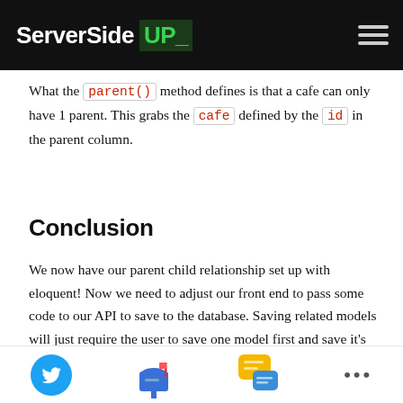ServerSide UP_
What the parent() method defines is that a cafe can only have 1 parent. This grabs the cafe defined by the id in the parent column.
Conclusion
We now have our parent child relationship set up with eloquent! Now we need to adjust our front end to pass some code to our API to save to the database. Saving related models will just require the user to save one model first and save it's ID to set as the parent. The next tutorial will bind the many to many
Twitter icon, Mail icon, Chat icon, more options